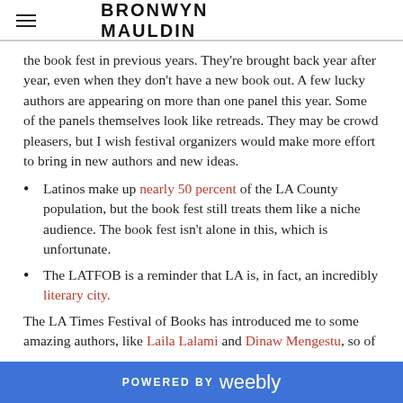BRONWYN MAULDIN
the book fest in previous years. They're brought back year after year, even when they don't have a new book out. A few lucky authors are appearing on more than one panel this year. Some of the panels themselves look like retreads. They may be crowd pleasers, but I wish festival organizers would make more effort to bring in new authors and new ideas.
Latinos make up nearly 50 percent of the LA County population, but the book fest still treats them like a niche audience. The book fest isn't alone in this, which is unfortunate.
The LATFOB is a reminder that LA is, in fact, an incredibly literary city.
The LA Times Festival of Books has introduced me to some amazing authors, like Laila Lalami and Dinaw Mengestu, so of
POWERED BY weebly